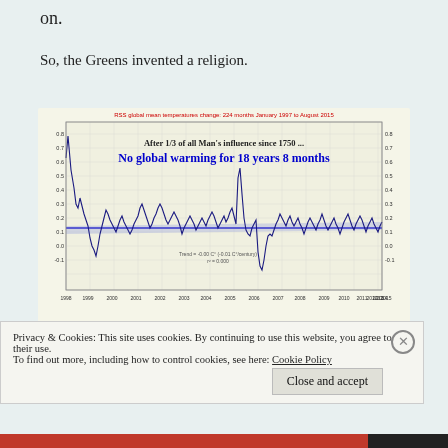on.
So, the Greens invented a religion.
[Figure (continuous-plot): RSS global mean temperature change line chart from January 1997 to August 2015, 224 months. Shows a volatile temperature anomaly line with a flat blue horizontal trend line. Text overlay reads: 'After 1/3 of all Man's influence since 1750 ... No global warming for 18 years 8 months'. Trend = -0.00 C° (-0.01 C°/century), r² = 0.000. X-axis shows years 1998-2015, Y-axis shows temperature anomaly values from about -0.1 to 0.8 C°.]
No Global Warming since 1998. (It was also warmer in the Middle...
Privacy & Cookies: This site uses cookies. By continuing to use this website, you agree to their use.
To find out more, including how to control cookies, see here: Cookie Policy
Close and accept